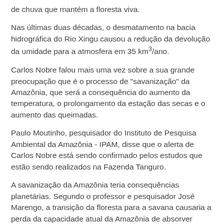de chuva que mantém a floresta viva.
Nas últimas duas décadas, o desmatamento na bacia hidrográfica do Rio Xingu causou a redução da devolução da umidade para a atmosfera em 35 km³/ano.
Carlos Nobre falou mais uma vez sobre a sua grande preocupação que é o processo de "savanização" da Amazônia, que será a consequência do aumento da temperatura, o prolongamento da estação das secas e o aumento das queimadas.
Paulo Moutinho, pesquisador do Instituto de Pesquisa Ambiental da Amazônia - IPAM, disse que o alerta de Carlos Nobre está sendo confirmado pelos estudos que estão sendo realizados na Fazenda Tanguro.
A savanização da Amazônia teria consequências planetárias. Segundo o professor e pesquisador José Marengo, a transição da floresta para a savana causaria a perda da capacidade atual da Amazônia de absorver cerca de 1 bilhão de toneladas/ano de CO2 da atmosfera e